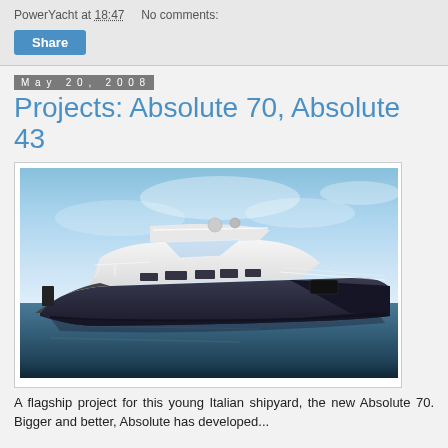PowerYacht at 18:47    No comments:
Share
May 20, 2008
Projects: Absolute 70, Absolute 43
[Figure (photo): Render of a large luxury motor yacht, the Absolute 70, on calm water with a blue sky background. The yacht has a dark hull, white superstructure, and flybridge.]
A flagship project for this young Italian shipyard, the new Absolute 70. Bigger and better, Absolute has developed...